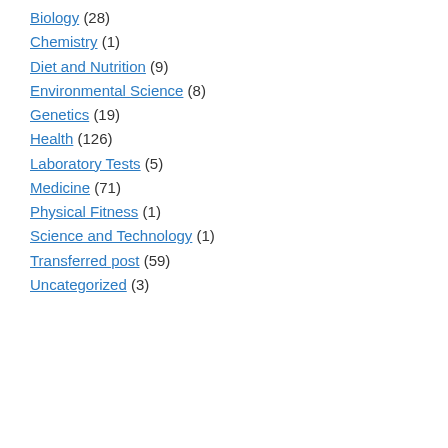Biology (28)
Chemistry (1)
Diet and Nutrition (9)
Environmental Science (8)
Genetics (19)
Health (126)
Laboratory Tests (5)
Medicine (71)
Physical Fitness (1)
Science and Technology (1)
Transferred post (59)
Uncategorized (3)